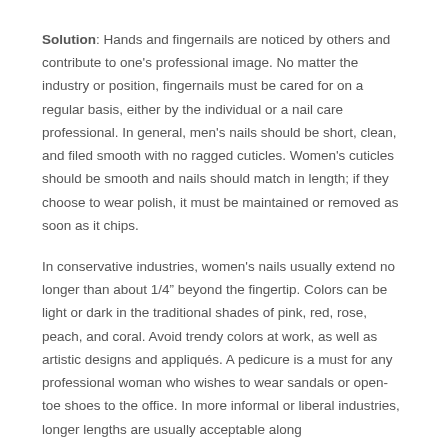Solution: Hands and fingernails are noticed by others and contribute to one's professional image. No matter the industry or position, fingernails must be cared for on a regular basis, either by the individual or a nail care professional. In general, men's nails should be short, clean, and filed smooth with no ragged cuticles. Women's cuticles should be smooth and nails should match in length; if they choose to wear polish, it must be maintained or removed as soon as it chips.
In conservative industries, women's nails usually extend no longer than about 1/4” beyond the fingertip. Colors can be light or dark in the traditional shades of pink, red, rose, peach, and coral. Avoid trendy colors at work, as well as artistic designs and appliqués. A pedicure is a must for any professional woman who wishes to wear sandals or open-toe shoes to the office. In more informal or liberal industries, longer lengths are usually acceptable along